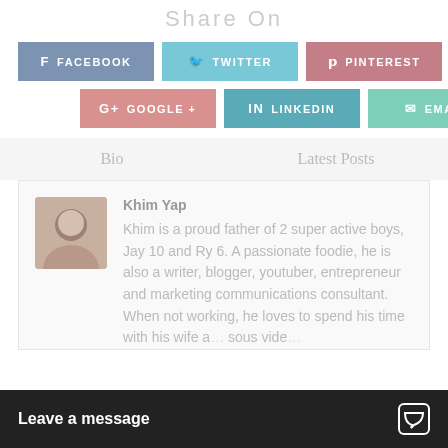Share On
[Figure (infographic): Social share buttons: Facebook (blue-grey), Twitter (light blue), Pinterest (pink/rose), Google+ (salmon), LinkedIn (teal-blue), Email (mint green)]
Bio
Latest Posts
Khim Yap
Khim is a proud father of 2 super active boys, Jay 10 and Ry 6. A passionate foodie, he is also a writer, blogger, youtuber, entrepreneur and marketing communications consultant. When not working, he loves to spend his time with his wife a... sous vide...
Leave a message